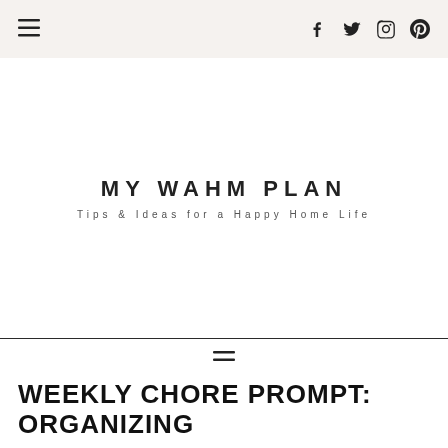MY WAHM PLAN — Tips & Ideas for a Happy Home Life
MY WAHM PLAN
Tips & Ideas for a Happy Home Life
WEEKLY CHORE PROMPT: ORGANIZING